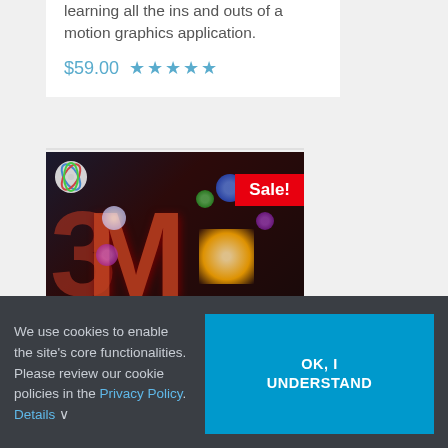learning all the ins and outs of a motion graphics application.
$59.00 ★★★★★
[Figure (photo): Motion graphics product thumbnail showing 3D red letters '3M' with colorful bokeh orbs on dark background, with a red 'Sale!' badge in the top right corner.]
Text In
We use cookies to enable the site's core functionalities. Please review our cookie policies in the Privacy Policy. Details ∨
OK, I UNDERSTAND